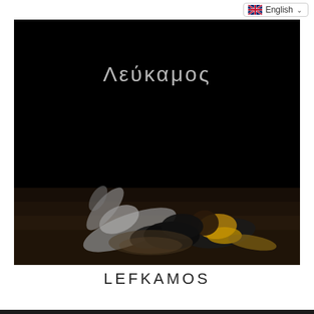English
[Figure (photo): Dark photograph showing two people lying or falling on a dark rocky/dirt ground. One person wearing white/grey clothing and another wearing a yellow/orange top and black clothing. The image is mostly dark/black with the subjects visible in the lower center. Greek text 'Λεύκαμος' appears at the top of the image in light grey.]
LEFKAMOS